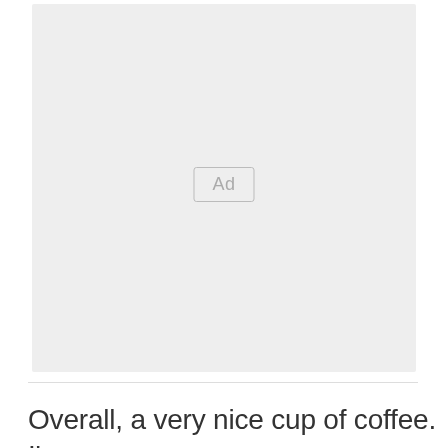[Figure (other): Advertisement placeholder block with light gray background and 'Ad' label in a bordered box, centered in the block.]
Overall, a very nice cup of coffee. I've never